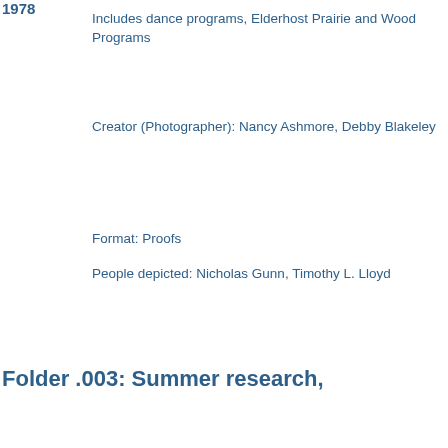1978
Includes dance programs, Elderhost Prairie and Wood Programs
Creator (Photographer): Nancy Ashmore, Debby Blakeley
Format: Proofs
People depicted: Nicholas Gunn, Timothy L. Lloyd
Folder .003: Summer research,